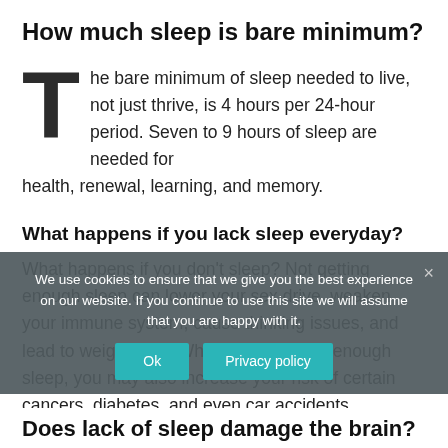How much sleep is bare minimum?
The bare minimum of sleep needed to live, not just thrive, is 4 hours per 24-hour period. Seven to 9 hours of sleep are needed for health, renewal, learning, and memory.
What happens if you lack sleep everyday?
What happens if you don't sleep? Not getting enough sleep can lower your sex drive, weaken your immune system, cause thinking issues, and lead to weight gain. When you don't get enough sleep, you may also increase your risk of certain cancers, diabetes, and even car accidents.
We use cookies to ensure that we give you the best experience on our website. If you continue to use this site we will assume that you are happy with it.
Does lack of sleep damage the brain?